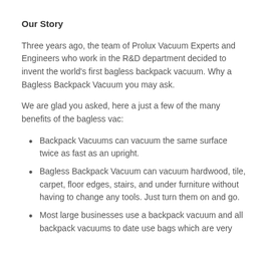Our Story
Three years ago, the team of Prolux Vacuum Experts and Engineers who work in the R&D department decided to invent the world's first bagless backpack vacuum. Why a Bagless Backpack Vacuum you may ask.
We are glad you asked, here a just a few of the many benefits of the bagless vac:
Backpack Vacuums can vacuum the same surface twice as fast as an upright.
Bagless Backpack Vacuum can vacuum hardwood, tile, carpet, floor edges, stairs, and under furniture without having to change any tools. Just turn them on and go.
Most large businesses use a backpack vacuum and all backpack vacuums to date use bags which are very